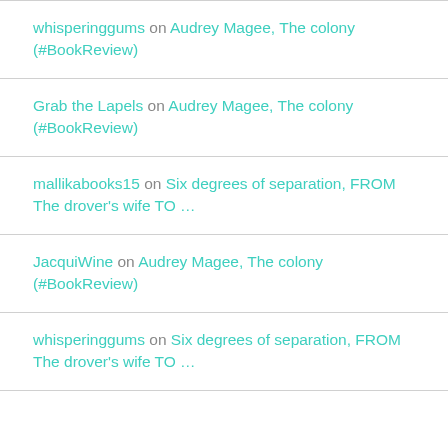whisperinggums on Audrey Magee, The colony (#BookReview)
Grab the Lapels on Audrey Magee, The colony (#BookReview)
mallikabooks15 on Six degrees of separation, FROM The drover's wife TO …
JacquiWine on Audrey Magee, The colony (#BookReview)
whisperinggums on Six degrees of separation, FROM The drover's wife TO …